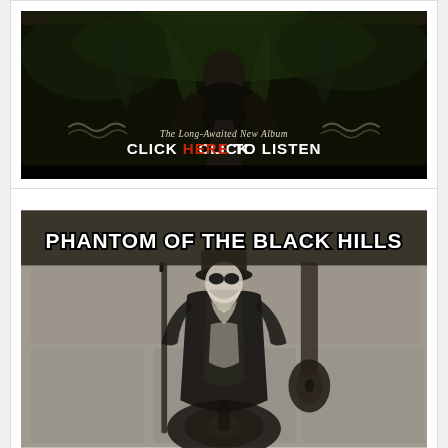[Figure (illustration): Dark gothic album advertisement banner with foliage and figure in background. Text reads 'The Long-Awaited New Album' and 'CLICK HERE TO LISTEN' with HERE highlighted in red.]
[Figure (photo): Black and white photo album cover for 'PHANTOM OF THE BLACK HILLS' showing a masked, bearded figure holding a rifle/staff, with an acoustic guitar leaning to the right and a mandolin in the foreground.]